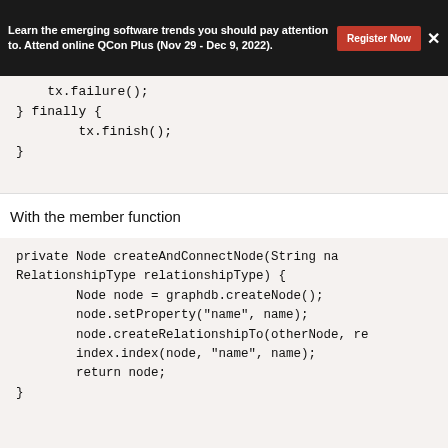Learn the emerging software trends you should pay attention to. Attend online QCon Plus (Nov 29 - Dec 9, 2022).
tx.failure();
} finally {
        tx.finish();
}
With the member function
private Node createAndConnectNode(String na
RelationshipType relationshipType) {
        Node node = graphdb.createNode();
        node.setProperty("name", name);
        node.createRelationshipTo(otherNode, re
        index.index(node, "name", name);
        return node;
}